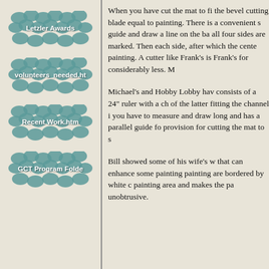[Figure (screenshot): Navigation icon buttons on left panel: Letzler Awards, volunteers_needed.ht, Recent Work.htm, GCT Program Folde]
When you have cut the mat to fit the bevel cutting blade equal to painting. There is a convenient s guide and draw a line on the ba all four sides are marked. Then each side, after which the cente painting. A cutter like Frank's is Frank's for considerably less. M
Michael's and Hobby Lobby hav consists of a 24" ruler with a ch of the latter fitting the channel i you have to measure and draw long and has a parallel guide fo provision for cutting the mat to s
Bill showed some of his wife's w that can enhance some painting painting are bordered by white c painting area and makes the pa unobtrusive.